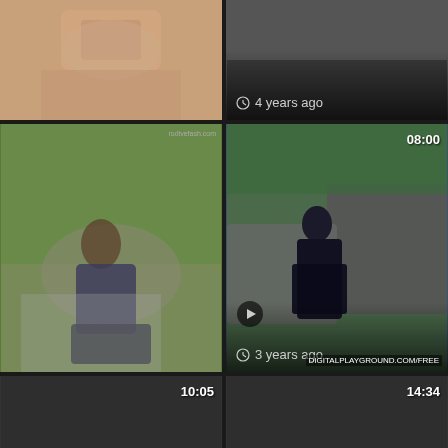[Figure (screenshot): Video thumbnail grid - top left, partial skin tone image]
[Figure (screenshot): Video thumbnail - top right, dark/blurred, age label: 4 years ago]
[Figure (screenshot): Video thumbnail - middle left, woman outdoors sitting on mat]
[Figure (screenshot): Video thumbnail - middle right, duration 08:00, woman near van, DIGITALPLAYGROUND watermark, age: 3 years ago]
[Figure (screenshot): Video card - bottom-mid left, duration 10:05, age: 4 years ago, dark thumbnail]
[Figure (screenshot): Video card - bottom-mid right, duration 14:34, age: 3 years ago, dark thumbnail]
[Figure (screenshot): Video card - bottom row left, duration 05:00, dark thumbnail]
[Figure (screenshot): Video card - bottom row right, dark thumbnail]